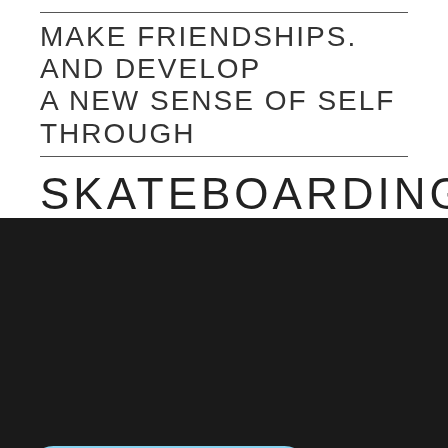MAKE FRIENDSHIPS. AND DEVELOP A NEW SENSE OF SELF THROUGH SKATEBOARDING
Sales and Refund Policy
Employment
[Figure (screenshot): Apple App Store badge with apple logo]
[Figure (screenshot): Google Play badge with colorful play triangle logo]